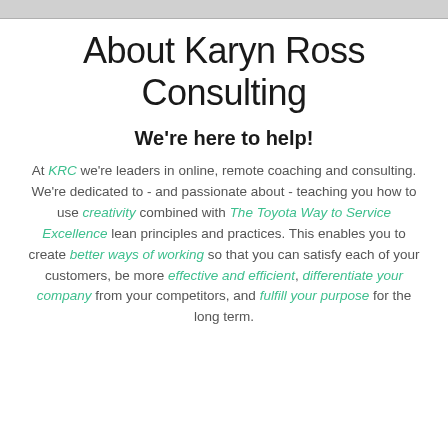About Karyn Ross Consulting
We're here to help!
At KRC we're leaders in online, remote coaching and consulting. We're dedicated to - and passionate about - teaching you how to use creativity combined with The Toyota Way to Service Excellence lean principles and practices. This enables you to create better ways of working so that you can satisfy each of your customers, be more effective and efficient, differentiate your company from your competitors, and fulfill your purpose for the long term.